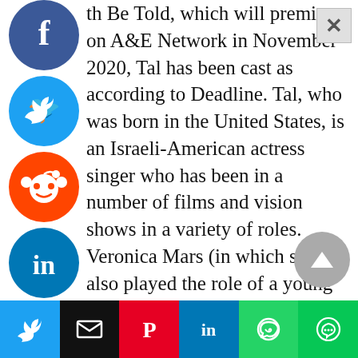th Be Told, which will premiere on A&E Network in November 2020, Tal has been cast as according to Deadline. Tal, who was born in the United States, is an Israeli-American actress singer who has been in a number of films and vision shows in a variety of roles. Veronica Mars (in which she also played the role of a young an named Veronica Mars) is her most well-known performance, which she gave as a erleader in the film Veronica Mars.
[Figure (infographic): Social media sharing sidebar icons: Facebook (blue), Twitter (blue), Reddit (orange), LinkedIn (blue), Pinterest (red), MeWe (blue), and one more orange icon]
[Figure (infographic): Bottom social share bar with Twitter, Email, Pinterest, LinkedIn, WhatsApp, LINE buttons]